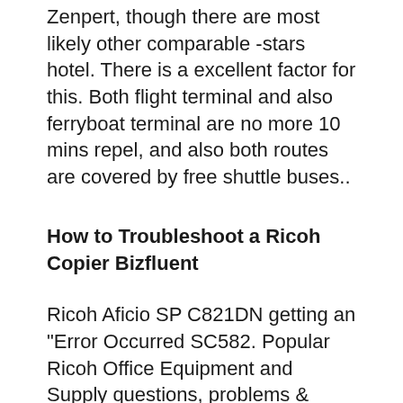Zenpert, though there are most likely other comparable -stars hotel. There is a excellent factor for this. Both flight terminal and also ferryboat terminal are no more 10 mins repel, and also both routes are covered by free shuttle buses..
How to Troubleshoot a Ricoh Copier Bizfluent
Ricoh Aficio SP C821DN getting an "Error Occurred SC582. Popular Ricoh Office Equipment and Supply questions, problems & fixes. Find expert solutions to common issues, DIY guides, repair tips & user manuals for вЂ¦. Find many